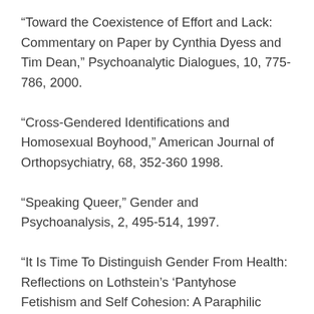“Toward the Coexistence of Effort and Lack: Commentary on Paper by Cynthia Dyess and Tim Dean,” Psychoanalytic Dialogues, 10, 775-786, 2000.
“Cross-Gendered Identifications and Homosexual Boyhood,” American Journal of Orthopsychiatry, 68, 352-360 1998.
“Speaking Queer,” Gender and Psychoanalysis, 2, 495-514, 1997.
“It Is Time To Distinguish Gender From Health: Reflections on Lothstein’s ‘Pantyhose Fetishism and Self Cohesion: A Paraphilic Solution,” Gender and Psychoanalysis, 2, 259-272, 1997.